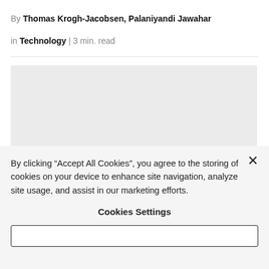By Thomas Krogh-Jacobsen, Palaniyandi Jawahar
in Technology | 3 min. read
[Figure (other): Light gray image placeholder rectangle]
By clicking “Accept All Cookies”, you agree to the storing of cookies on your device to enhance site navigation, analyze site usage, and assist in our marketing efforts.
Cookies Settings
Accept All Cookies